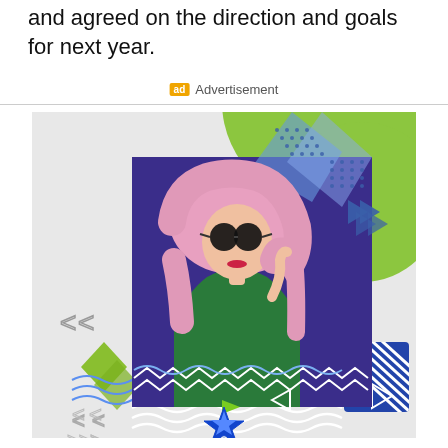and agreed on the direction and goals for next year.
ad Advertisement
[Figure (illustration): A colorful advertisement banner featuring a woman with pink hair and sunglasses wearing a green jacket, set against a purple/blue background, with lime-green geometric shapes and neon star logo elements. The ad appears to be for a brand called 'NEOISFAO' or similar.]